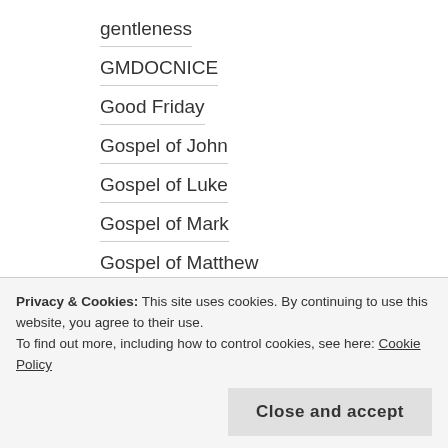gentleness
GMDOCNICE
Good Friday
Gospel of John
Gospel of Luke
Gospel of Mark
Gospel of Matthew
grace
Great Lent
Greek Festival
Privacy & Cookies: This site uses cookies. By continuing to use this website, you agree to their use.
To find out more, including how to control cookies, see here: Cookie Policy
Close and accept